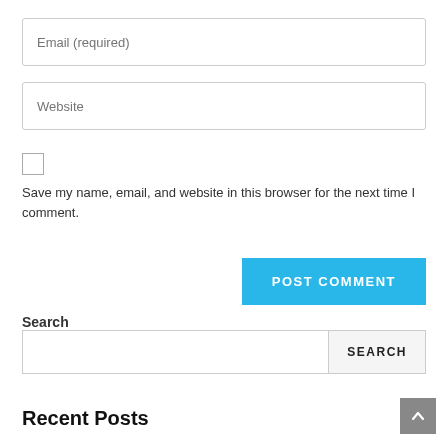Email (required)
Website
Save my name, email, and website in this browser for the next time I comment.
POST COMMENT
Search
SEARCH
Recent Posts